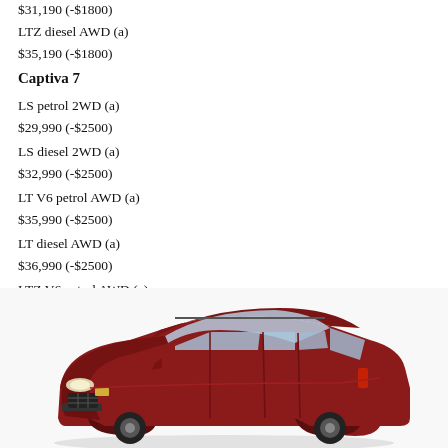$31,190 (-$1800)
LTZ diesel AWD (a)
$35,190 (-$1800)
Captiva 7
LS petrol 2WD (a)
$29,990 (-$2500)
LS diesel 2WD (a)
$32,990 (-$2500)
LT V6 petrol AWD (a)
$35,990 (-$2500)
LT diesel AWD (a)
$36,990 (-$2500)
LTZ V6 petrol AWD (a)
$39,990 (-$2500)
LTZ diesel AWD (a)
$40,990 (-$2500)
[Figure (photo): Red Holden/Chevrolet Captiva 7 SUV photographed from a front three-quarter angle]